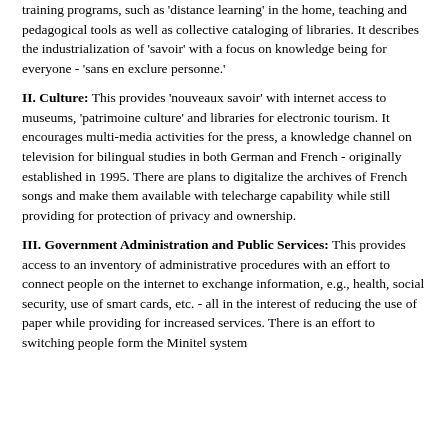training programs, such as 'distance learning' in the home, teaching and pedagogical tools as well as collective cataloging of libraries. It describes the industrialization of 'savoir' with a focus on knowledge being for everyone - 'sans en exclure personne.'
II. Culture: This provides 'nouveaux savoir' with internet access to museums, 'patrimoine culture' and libraries for electronic tourism. It encourages multi-media activities for the press, a knowledge channel on television for bilingual studies in both German and French - originally established in 1995. There are plans to digitalize the archives of French songs and make them available with telecharge capability while still providing for protection of privacy and ownership.
III. Government Administration and Public Services: This provides access to an inventory of administrative procedures with an effort to connect people on the internet to exchange information, e.g., health, social security, use of smart cards, etc. - all in the interest of reducing the use of paper while providing for increased services. There is an effort to switching people form the Minitel system